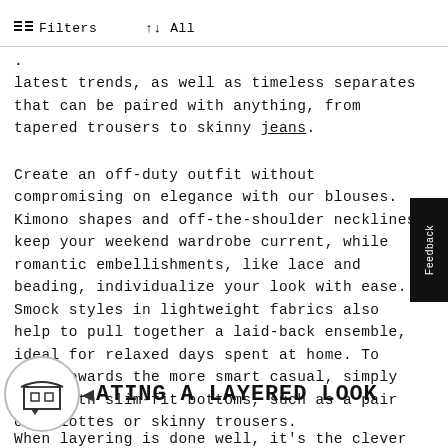Filters   ↑↓ All
latest trends, as well as timeless separates that can be paired with anything, from tapered trousers to skinny jeans.
Create an off-duty outfit without compromising on elegance with our blouses. Kimono shapes and off-the-shoulder necklines keep your weekend wardrobe current, while romantic embellishments, like lace and beading, individualize your look with ease. Smock styles in lightweight fabrics also help to pull together a laid-back ensemble, ideal for relaxed days spent at home. To lean towards the more smart casual, simply pair with slim-fit bottoms, such as a pair of culottes or skinny trousers.
ATING A LAYERED LOOK
When layering is done well, it's the clever way to form an on-trend look. It's all about complementary